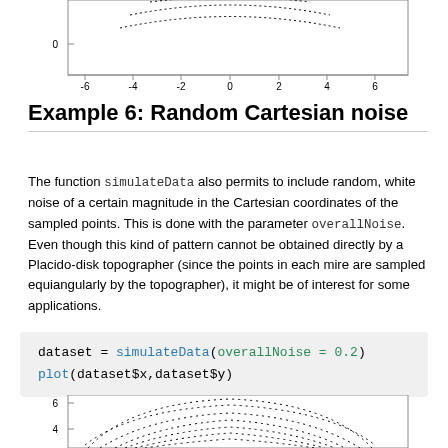[Figure (continuous-plot): Scatter/dot plot showing concentric dotted ring patterns. Y-axis shows value 0, x-axis ranges from -6 to 6. Dots form concentric elliptical/circular patterns around center.]
Example 6: Random Cartesian noise
The function simulateData also permits to include random, white noise of a certain magnitude in the Cartesian coordinates of the sampled points. This is done with the parameter overallNoise. Even though this kind of pattern cannot be obtained directly by a Placido-disk topographer (since the points in each mire are sampled equiangularly by the topographer), it might be of interest for some applications.
dataset = simulateData(overallNoise = 0.2)
plot(dataset$x,dataset$y)
[Figure (continuous-plot): Scatter/dot plot showing concentric dotted ring patterns with noise applied. Y-axis shows values 0 and 4, concentric arcs visible in upper portion. Dots form noisy concentric elliptical patterns.]